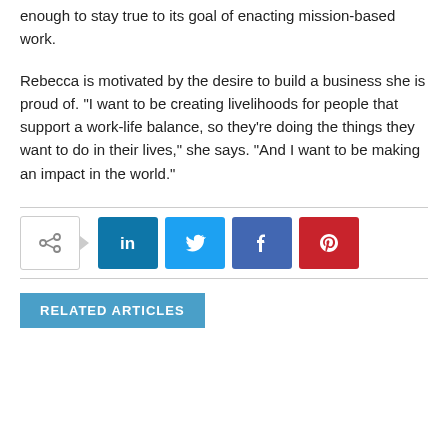enough to stay true to its goal of enacting mission-based work.
Rebecca is motivated by the desire to build a business she is proud of. “I want to be creating livelihoods for people that support a work-life balance, so they’re doing the things they want to do in their lives,” she says. “And I want to be making an impact in the world.”
[Figure (infographic): Social share buttons: a share icon box with arrow, followed by LinkedIn (blue), Twitter (light blue), Facebook (dark blue), and Pinterest (red) square buttons.]
RELATED ARTICLES